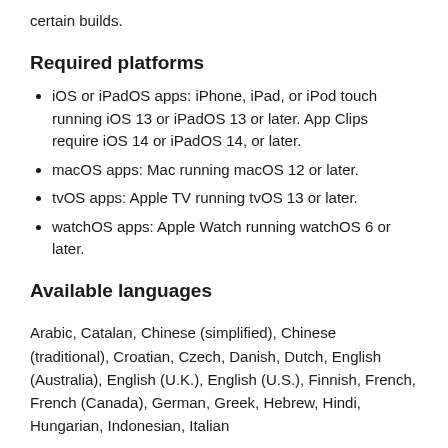certain builds.
Required platforms
iOS or iPadOS apps: iPhone, iPad, or iPod touch running iOS 13 or iPadOS 13 or later. App Clips require iOS 14 or iPadOS 14, or later.
macOS apps: Mac running macOS 12 or later.
tvOS apps: Apple TV running tvOS 13 or later.
watchOS apps: Apple Watch running watchOS 6 or later.
Available languages
Arabic, Catalan, Chinese (simplified), Chinese (traditional), Croatian, Czech, Danish, Dutch, English (Australia), English (U.K.), English (U.S.), Finnish, French, French (Canada), German, Greek, Hebrew, Hindi, Hungarian, Indonesian, Italian